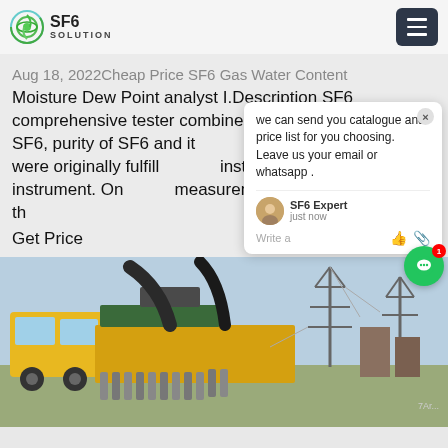SF6 SOLUTION
Aug 18, 2022Cheap Price SF6 Gas Water Content Moisture Dew Point analyst I.Description SF6 comprehensive tester combines the tests of humidity of SF6, purity of SF6 and integrates the functions which were originally fulfilled by 3 instruments into one instrument. One time measurement can fulfill the test of th…
Get Price
[Figure (screenshot): Chat popup with message: we can send you catalogue and price list for you choosing. Leave us your email or whatsapp. SF6 Expert - just now. Write a message area with like and attachment icons.]
[Figure (photo): Yellow truck with SF6 gas equipment and cylinders at an electrical substation with transmission towers in the background.]